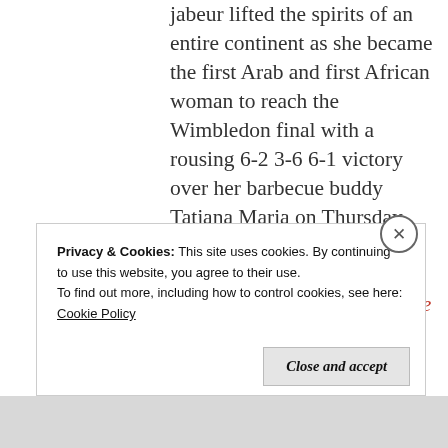Jabeur lifted the spirits of an entire continent as she became the first Arab and first African woman to reach the Wimbledon final with a rousing 6-2 3-6 6-1 victory over her barbecue buddy Tatjana Maria on Thursday. Before she stepped on court, American great Billie Jean King said Jabeur was … More
Privacy & Cookies: This site uses cookies. By continuing to use this website, you agree to their use.
To find out more, including how to control cookies, see here:
Cookie Policy
Close and accept